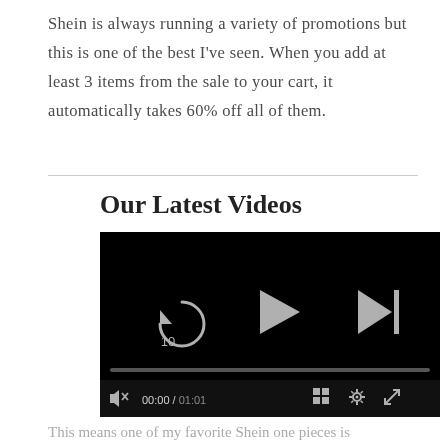Shein is always running a variety of promotions but this is one of the best I've seen. When you add at least 3 items from the sale to your cart, it automatically takes 60% off all of them.
Our Latest Videos
[Figure (screenshot): A video player with black background showing playback controls: a replay-10 button, a play triangle button, a skip-forward button, a progress bar, volume/mute icon, time display showing 00:00 / 01:01, a grid icon, a settings gear icon, and a fullscreen icon.]
This means one of my favorite Shein one pieces is